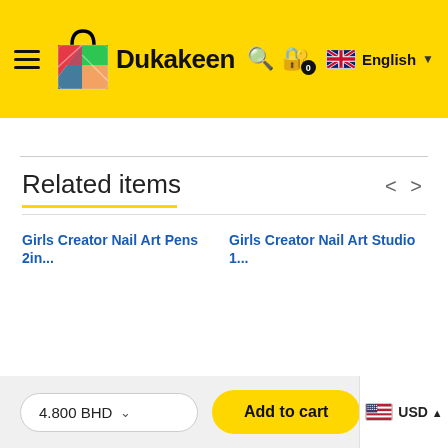Dukakeen — English — cart 0
Related items
Girls Creator Nail Art Pens 2in...
Girls Creator Nail Art Studio 1...
4.800 BHD  Add to cart  USD